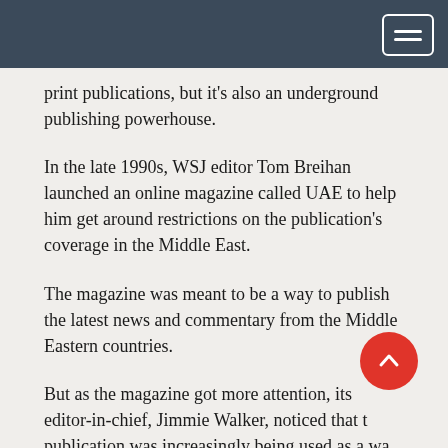print publications, but it's also an underground publishing powerhouse.
In the late 1990s, WSJ editor Tom Breihan launched an online magazine called UAE to help him get around restrictions on the publication's coverage in the Middle East.
The magazine was meant to be a way to publish the latest news and commentary from the Middle Eastern countries.
But as the magazine got more attention, its editor-in-chief, Jimmie Walker, noticed that the publication was increasingly being used as a way for UAE journalists to make money.